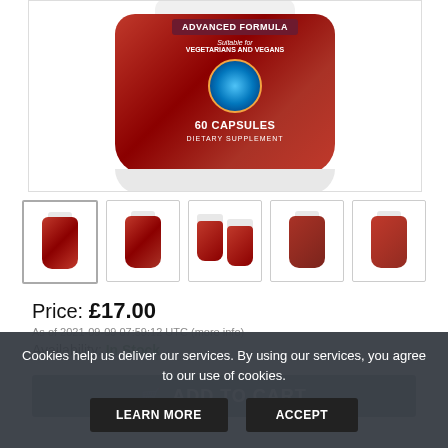[Figure (photo): Product bottle - supplement bottle with red label showing Advanced Formula, suitable for Vegetarians and Vegans, 60 Capsules Dietary Supplement]
[Figure (photo): Row of 5 thumbnail images of the same supplement bottle product from different angles]
Price: £17.00
As of 2021-09-09 07:59:12 UTC (more info)
Availability: In Stock
ADD TO CART
Cookies help us deliver our services. By using our services, you agree to our use of cookies.
LEARN MORE
ACCEPT